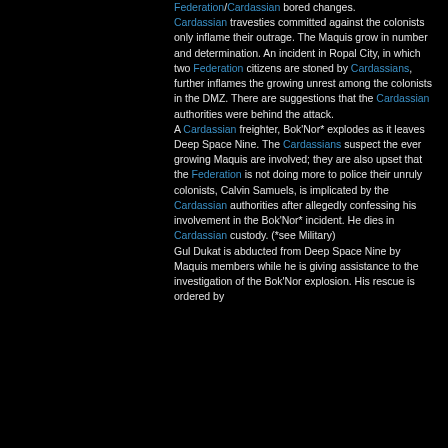Federation/Cardassian bored changes. Cardassian travesties committed against the colonists only inflame their outrage. The Maquis grow in number and determination. An incident in Ropal City, in which two Federation citizens are stoned by Cardassians, further inflames the growing unrest among the colonists in the DMZ. There are suggestions that the Cardassian authorities were behind the attack. A Cardassian freighter, Bok'Nor* explodes as it leaves Deep Space Nine. The Cardassians suspect the ever growing Maquis are involved; they are also upset that the Federation is not doing more to police their unruly colonists, Calvin Samuels, is implicated by the Cardassian authorities after allegedly confessing his involvement in the Bok'Nor* incident. He dies in Cardassian custody. (*see Military) Gul Dukat is abducted from Deep Space Nine by Maquis members while he is giving assistance to the investigation of the Bok'Nor explosion. His rescue is ordered by